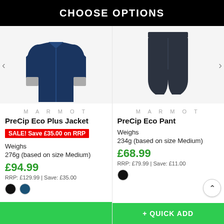CHOOSE OPTIONS
[Figure (photo): Navy blue Marmot PreCip Eco Plus Jacket with grey cuffs on white background]
[Figure (photo): Dark grey Marmot PreCip Eco Pant on white background]
MARMOT
PreCip Eco Plus Jacket
SALE! Save £35.00 on RRP
Weighs
276g (based on size Medium)
£94.99
RRP: £129.99 | Save: £35.00
MARMOT
PreCip Eco Pant
Weighs
234g (based on size Medium)
£68.99
RRP: £79.99 | Save: £11.00
+ QUICK ADD